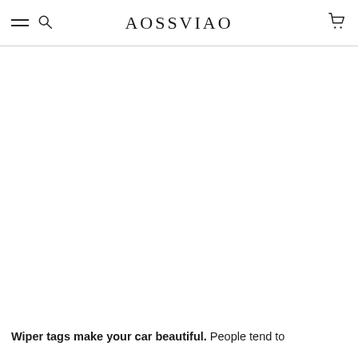AOSSVIAO
Wiper tags make your car beautiful. People tend to